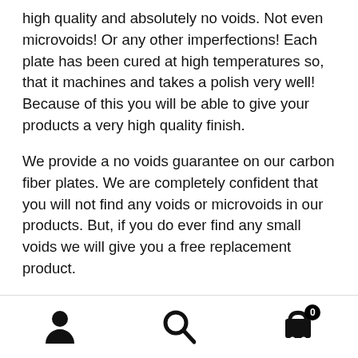high quality and absolutely no voids. Not even microvoids! Or any other imperfections! Each plate has been cured at high temperatures so, that it machines and takes a polish very well! Because of this you will be able to give your products a very high quality finish.
We provide a no voids guarantee on our carbon fiber plates. We are completely confident that you will not find any voids or microvoids in our products. But, if you do ever find any small voids we will give you a free replacement product.
We sell this material per square inch so that anyone can try out our materials. In the scroll down menu you can select any quantity and size that you need. Larger sizes
[user icon] [search icon] [cart icon with badge 0]